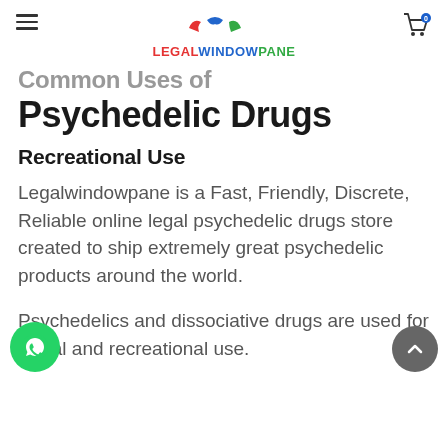LEGALWINDOWPANE
Common Uses of Psychedelic Drugs
Recreational Use
Legalwindowpane is a Fast, Friendly, Discrete, Reliable online legal psychedelic drugs store created to ship extremely great psychedelic products around the world.
Psychedelics and dissociative drugs are used for social and recreational use.